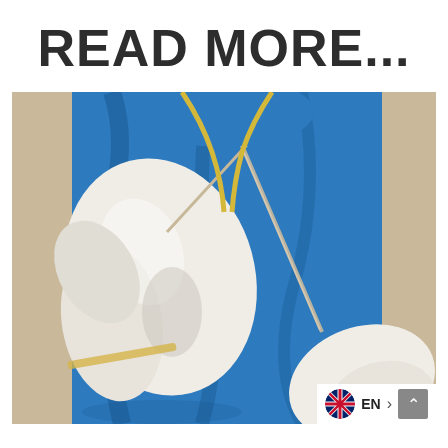READ MORE...
[Figure (photo): Close-up photo of a healthcare worker in blue PPE gown and white latex gloves holding a medical swab/test swab, with another gloved hand visible in the lower right corner holding a sample container. Background is beige/tan.]